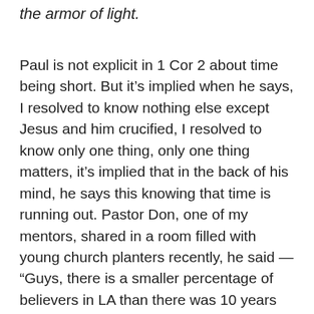the armor of light.
Paul is not explicit in 1 Cor 2 about time being short. But it’s implied when he says, I resolved to know nothing else except Jesus and him crucified, I resolved to know only one thing, only one thing matters, it’s implied that in the back of his mind, he says this knowing that time is running out. Pastor Don, one of my mentors, shared in a room filled with young church planters recently, he said — “Guys, there is a smaller percentage of believers in LA than there was 10 years ago. We’re losing LA for the gospel. I am getting old. It’s time for you guys to get serious about saving souls. We got to plant more